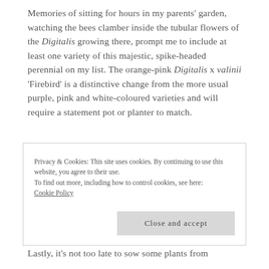Memories of sitting for hours in my parents' garden, watching the bees clamber inside the tubular flowers of the Digitalis growing there, prompt me to include at least one variety of this majestic, spike-headed perennial on my list. The orange-pink Digitalis x valinii 'Firebird' is a distinctive change from the more usual purple, pink and white-coloured varieties and will require a statement pot or planter to match.
Privacy & Cookies: This site uses cookies. By continuing to use this website, you agree to their use.
To find out more, including how to control cookies, see here: Cookie Policy
[Close and accept]
Lastly, it's not too late to sow some plants from